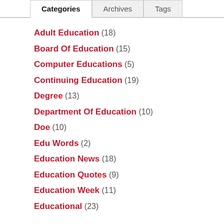Categories | Archives | Tags
Adult Education (18)
Board Of Education (15)
Computer Educations (5)
Continuing Education (19)
Degree (13)
Department Of Education (10)
Doe (10)
Edu Words (2)
Education News (18)
Education Quotes (9)
Education Week (11)
Educational (23)